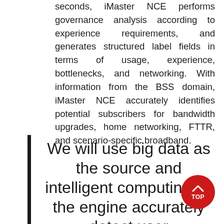seconds, iMaster NCE performs governance analysis according to experience requirements, and generates structured label fields in terms of usage, experience, bottlenecks, and networking. With information from the BSS domain, iMaster NCE accurately identifies potential subscribers for bandwidth upgrades, home networking, FTTR, and scenario-specific broadband.
We will use big data as the source and intelligent computing as the engine accurately detect user